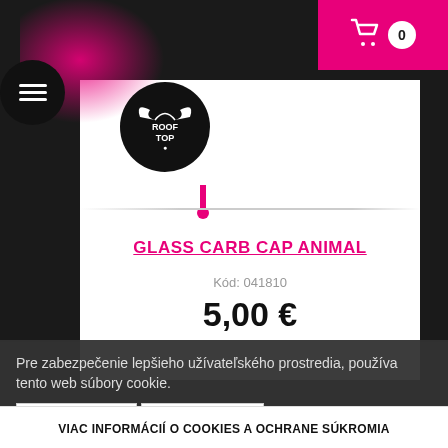[Figure (screenshot): Rooftop e-shop website header with pink brand color, hamburger menu, logo circle, and shopping cart icon showing 0 items]
GLASS CARB CAP ANIMAL
Kód: 041810
5,00 €
Pre zabezpečenie lepšieho užívateľského prostredia, používa tento web súbory cookie.
✔ SÚHLASÍM   NESÚHLASÍM
VIAC INFORMÁCIÍ O COOKIES A OCHRANE SÚKROMIA